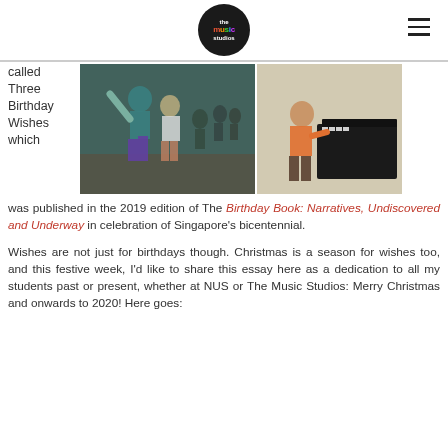The Music Studios logo and navigation
called Three Birthday Wishes which
[Figure (photo): Two photos side by side: left shows children dancing in a studio, right shows a child at a piano]
was published in the 2019 edition of The Birthday Book: Narratives, Undiscovered and Underway in celebration of Singapore's bicentennial.

Wishes are not just for birthdays though. Christmas is a season for wishes too, and this festive week, I'd like to share this essay here as a dedication to all my students past or present, whether at NUS or The Music Studios: Merry Christmas and onwards to 2020! Here goes: